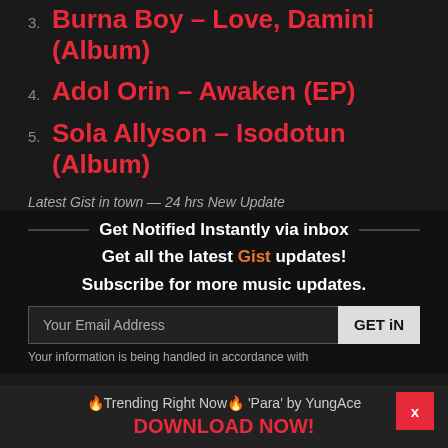3. Burna Boy – Love, Damini (Album)
4. Adol Orin – Awaken (EP)
5. Sola Allyson – Isodotun (Album)
Latest Gist in town — 24 hrs New Update
Get Notified Instantly via inbox
Get all the latest Gist updates!
Subscribe for more music updates.
Your Email Address
GET iN
Your information is being handled in accordance with
🔥Trending Right Now🔥 'Para' by YungAce
DOWNLOAD NOW!